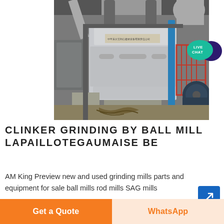[Figure (photo): Industrial ball mill / clinker grinding machine inside a factory building. The machine is a large grey metal unit with Chinese text label on the front. Red safety cage and large electric motor visible to the right. Pipes and ductwork overhead. Cables/ropes on floor.]
CLINKER GRINDING BY BALL MILL LAPAILLOTEGAUMAISE BE
AM King Preview new and used grinding mills parts and equipment for sale ball mills rod mills SAG mills
Get a Quote
WhatsApp